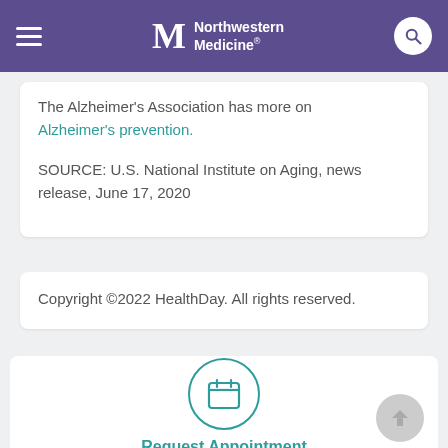Northwestern Medicine
The Alzheimer's Association has more on Alzheimer's prevention.
SOURCE: U.S. National Institute on Aging, news release, June 17, 2020
Copyright ©2022 HealthDay. All rights reserved.
[Figure (illustration): Calendar icon inside a teal circle, with 'Request Appointment' label below]